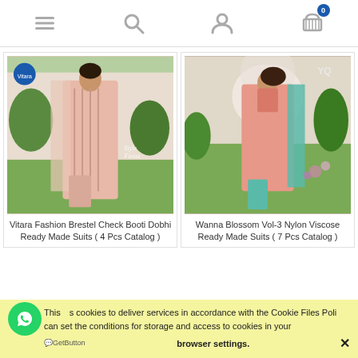Navigation bar with menu, search, user, and cart icons
[Figure (photo): Woman wearing a pink Brestel Check Booti Dobhi ready made suit with dupatta, standing outdoors. Brand logo 'Vitara' visible top left.]
Vitara Fashion Brestel Check Booti Dobhi Ready Made Suits ( 4 Pcs Catalog )
[Figure (photo): Woman wearing a pink Nylon Viscose ready made suit with teal dupatta and teal pants, standing outdoors. Logo 'YQ' visible top right.]
Wanna Blossom Vol-3 Nylon Viscose Ready Made Suits ( 7 Pcs Catalog )
This uses cookies to deliver services in accordance with the Cookie Files Policy. You can set the conditions for storage and access to cookies in your browser settings. ✕